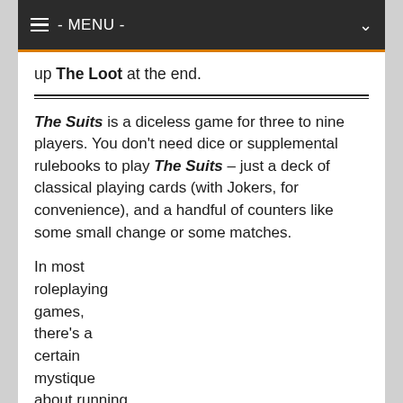≡ - MENU -
up The Loot at the end.
The Suits is a diceless game for three to nine players. You don't need dice or supplemental rulebooks to play The Suits – just a deck of classical playing cards (with Jokers, for convenience), and a handful of counters like some small change or some matches.
In most roleplaying games, there's a certain mystique about running the story,